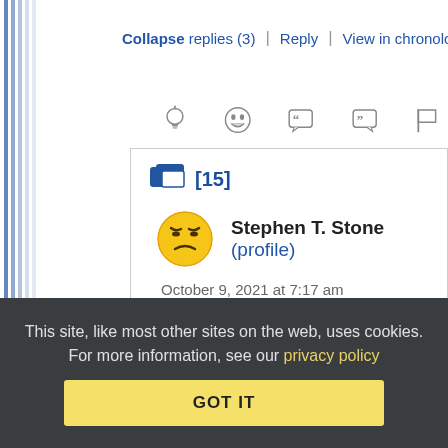Collapse replies (3) | Reply | View in chronology
[Figure (infographic): Row of 5 action icons: lightbulb (idea), laughing face (funny), open quote bubble, close quote bubble, flag]
[15]
Stephen T. Stone (profile)
October 9, 2021 at 7:17 am
Re: Re: Re:12
This site, like most other sites on the web, uses cookies. For more information, see our privacy policy
GOT IT